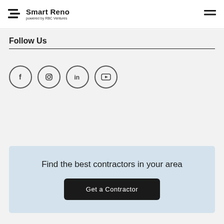[Figure (logo): Smart Reno logo with stacked lines icon and text 'Smart Reno powered by RBC Ventures']
Follow Us
[Figure (infographic): Four social media icons in circles: Facebook (f), Instagram, LinkedIn (in), YouTube (play button)]
Find the best contractors in your area
Get a Contractor